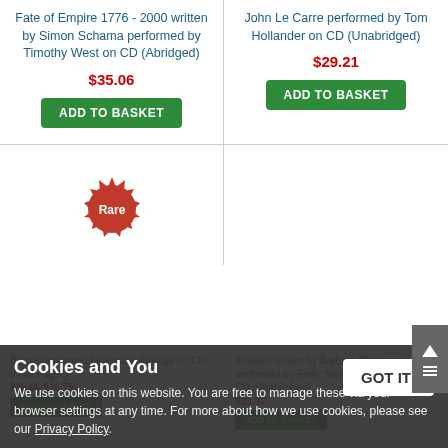Fate of Empire 1776 - 2000 written by Simon Schama performed by Timothy West on CD (Abridged)
$35.06
ADD TO BASKET
John Le Carre performed by Tom Hollander on CD (Unabridged)
$29.21
ADD TO BASKET
[Figure (illustration): Red rare badge/seal with text 'Rare']
Cookies and You
We use cookies on this website. You are free to manage these via your browser settings at any time. For more about how we use cookies, please see our Privacy Policy.
GOT IT!
Bronte performed by Rachel Ravidge on CD (Unabridged) $35.06 $16.75 ADD TO BASKET
Ambush written by Barbara Nickless performed by Emily Sutton-Smith on Audio CD (Unabridged) $23.37 ADD TO BASKET